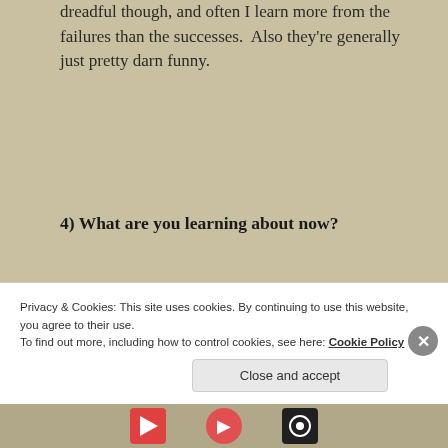dreadful though, and often I learn more from the failures than the successes.  Also they're generally just pretty darn funny.
4) What are you learning about now?
I am getting ready to take my PA (Physician Assistant/Associate) re-certification exam this
Privacy & Cookies: This site uses cookies. By continuing to use this website, you agree to their use.
To find out more, including how to control cookies, see here: Cookie Policy
Close and accept